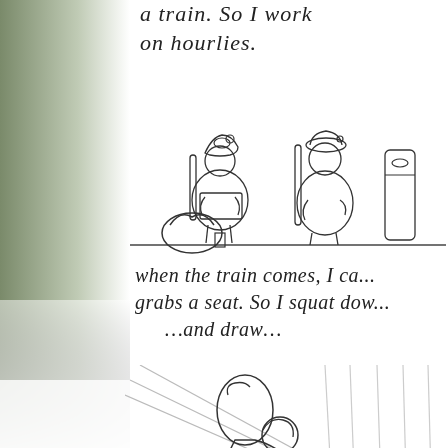a train. So I work on hourlies.
[Figure (illustration): Hand-drawn sketch of two people sitting in train seats. Left figure wears a decorative hat and holds a sketchbook/laptop on their lap. Right figure wears a round hat and sits relaxed. A bag is on the floor to the left. A suitcase or seat back is visible to the right. A horizontal line separates the scene.]
when the train comes, I ca... grab a seat. So I squat dow... ...and draw....
[Figure (illustration): Hand-drawn sketch of a person squatting down on the floor, hunched over drawing in a sketchbook. The person has a bag on their back. Around them are legs and feet of standing passengers, with vertical lines suggesting a train environment.]